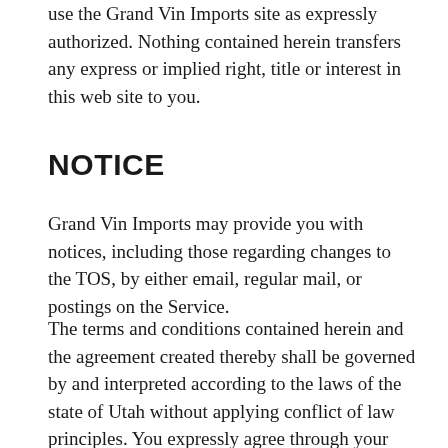use the Grand Vin Imports site as expressly authorized. Nothing contained herein transfers any express or implied right, title or interest in this web site to you.
NOTICE
Grand Vin Imports may provide you with notices, including those regarding changes to the TOS, by either email, regular mail, or postings on the Service.
The terms and conditions contained herein and the agreement created thereby shall be governed by and interpreted according to the laws of the state of Utah without applying conflict of law principles. You expressly agree through your use of the site to be subject to jurisdiction and venue in the state of Utah and to have any